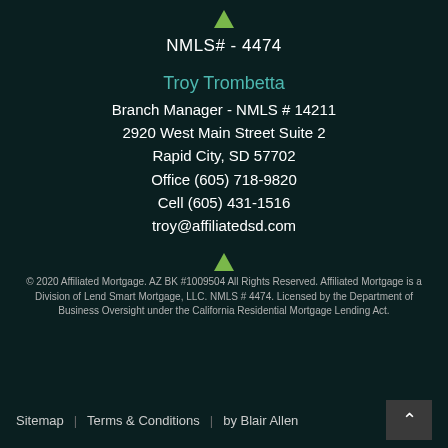[Figure (logo): Small logo image at top center]
NMLS# - 4474
Troy Trombetta
Branch Manager - NMLS # 14211
2920 West Main Street Suite 2
Rapid City, SD 57702
Office (605) 718-9820
Cell (605) 431-1516
troy@affiliatedsd.com
[Figure (logo): Small logo image at bottom center]
© 2020 Affiliated Mortgage. AZ BK #1009504 All Rights Reserved. Affiliated Mortgage is a Division of Lend Smart Mortgage, LLC. NMLS # 4474. Licensed by the Department of Business Oversight under the California Residential Mortgage Lending Act.
Sitemap   Terms & Conditions   by Blair Allen